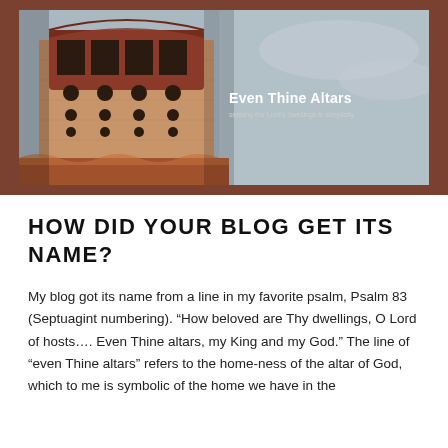[Figure (photo): Blog header banner showing a Byzantine/Orthodox church tower with arched windows and ornate brickwork on the left, against a grey sky background. Overlaid text reads 'Even Thine Altars' with subtitle 'seeking the Lord's dwellings in simplicity'. Banner has brown/terracotta border.]
HOW DID YOUR BLOG GET ITS NAME?
My blog got its name from a line in my favorite psalm, Psalm 83 (Septuagint numbering). “How beloved are Thy dwellings, O Lord of hosts…. Even Thine altars, my King and my God.” The line of “even Thine altars” refers to the home-ness of the altar of God, which to me is symbolic of the home we have in the